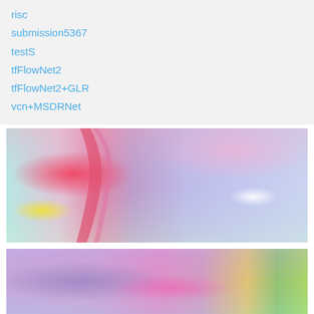risc
submission5367
testS
tfFlowNet2
tfFlowNet2+GLR
vcn+MSDRNet
[Figure (other): Optical flow visualization image showing colorful flow field with pinkish-red region on left and purple-blue hues on right, with yellow-green in lower left]
[Figure (other): Optical flow visualization image showing colorful flow field with purple-blue and pink-magenta hues, with green-yellow on the right side]